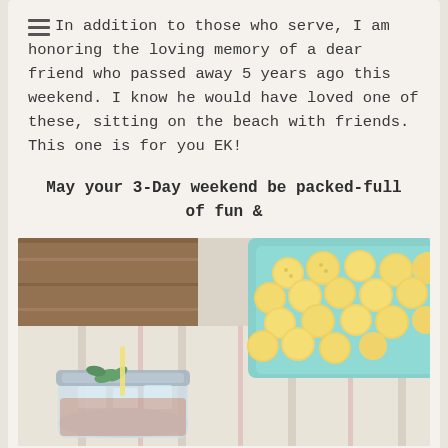In addition to those who serve, I am honoring the loving memory of a dear friend who passed away 5 years ago this weekend. I know he would have loved one of these, sitting on the beach with friends. This one is for you EK!
May your 3-Day weekend be packed-full of fun & festive libations, cheers!
[Figure (photo): Overhead photo showing a teal container filled with yellow raspberries on a striped cloth, and a mason jar cocktail with ice, mint and a straw in the foreground]